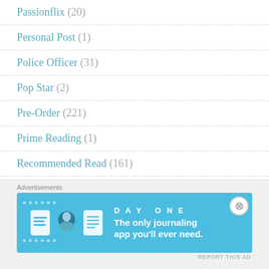Passionflix (20)
Personal Post (1)
Police Officer (31)
Pop Star (2)
Pre-Order (221)
Prime Reading (1)
Recommended Read (161)
Reformed Man Whore (37)
Advertisements
[Figure (infographic): Day One journaling app advertisement banner with blue background, app icons, and tagline 'The only journaling app you'll ever need.']